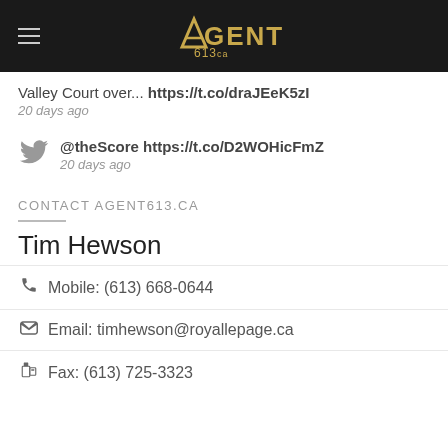[Figure (logo): Agent613.ca logo on black header bar with hamburger menu icon]
Valley Court over... https://t.co/draJEeK5zI
20 days ago
@theScore https://t.co/D2WOHicFmZ
20 days ago
CONTACT AGENT613.CA
Tim Hewson
Mobile: (613) 668-0644
Email: timhewson@royallepage.ca
Fax: (613) 725-3323